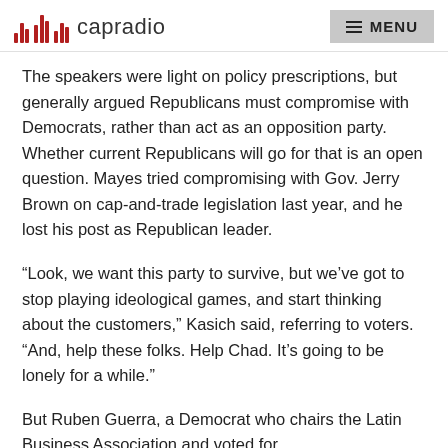capradio  MENU
The speakers were light on policy prescriptions, but generally argued Republicans must compromise with Democrats, rather than act as an opposition party. Whether current Republicans will go for that is an open question. Mayes tried compromising with Gov. Jerry Brown on cap-and-trade legislation last year, and he lost his post as Republican leader.
“Look, we want this party to survive, but we’ve got to stop playing ideological games, and start thinking about the customers,” Kasich said, referring to voters. “And, help these folks. Help Chad. It’s going to be lonely for a while.”
But Ruben Guerra, a Democrat who chairs the Latin Business Association and voted for